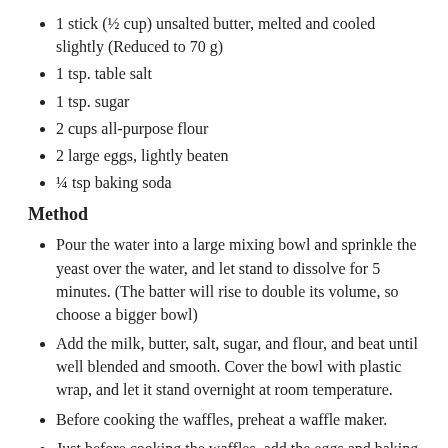1 stick (½ cup) unsalted butter, melted and cooled slightly (Reduced to 70 g)
1 tsp. table salt
1 tsp. sugar
2 cups all-purpose flour
2 large eggs, lightly beaten
¼ tsp baking soda
Method
Pour the water into a large mixing bowl and sprinkle the yeast over the water, and let stand to dissolve for 5 minutes. (The batter will rise to double its volume, so choose a bigger bowl)
Add the milk, butter, salt, sugar, and flour, and beat until well blended and smooth. Cover the bowl with plastic wrap, and let it stand overnight at room temperature.
Before cooking the waffles, preheat a waffle maker.
Just before cooking the waffles, add the eggs and baking soda, and stir to mix well. The batter will be very thin. Pour an appropriate amount of batter into your hot waffle maker: this amount will vary from